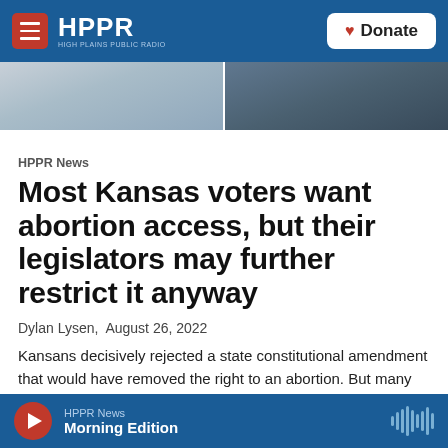HPPR HIGH PLAINS PUBLIC RADIO | Donate
[Figure (photo): Hero image strip showing two photos side by side — left appears to show a person, right appears to show some objects on a surface]
HPPR News
Most Kansas voters want abortion access, but their legislators may further restrict it anyway
Dylan Lysen,  August 26, 2022
Kansans decisively rejected a state constitutional amendment that would have removed the right to an abortion. But many conservative lawmakers will go unchallenged at the ballot box this year, allowing them to
HPPR News  Morning Edition